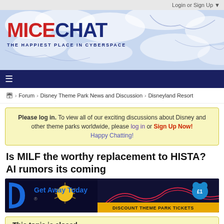Login or Sign Up ▼
[Figure (logo): MiceChat logo banner with blue watercolor cloud background. Logo text: MICE in red, CHAT in dark blue, tagline: THE HAPPIEST PLACE IN CYBERSPACE]
≡ (hamburger navigation menu)
🏠 › Forum › Disney Theme Park News and Discussion › Disneyland Resort
Please log in. To view all of our exciting discussions about Disney and other theme parks worldwide, please log in or Sign Up Now! Happy Chatting!
Is MILF the worthy replacement to HISTA? AI rumors its coming
[Figure (photo): Get Away Today advertisement banner showing roller coaster at night with Mickey Mouse, text: DISCOUNT THEME PARK TICKETS]
This topic is closed.